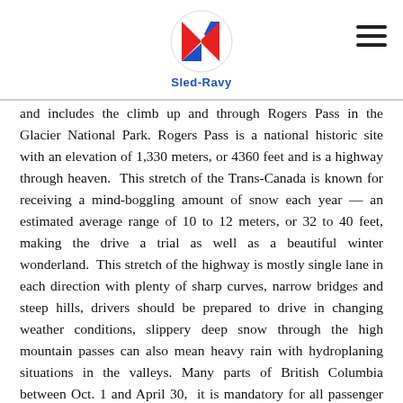Sled-Ravy logo and navigation
and includes the climb up and through Rogers Pass in the Glacier National Park. Rogers Pass is a national historic site with an elevation of 1,330 meters, or 4360 feet and is a highway through heaven. This stretch of the Trans-Canada is known for receiving a mind-boggling amount of snow each year — an estimated average range of 10 to 12 meters, or 32 to 40 feet, making the drive a trial as well as a beautiful winter wonderland. This stretch of the highway is mostly single lane in each direction with plenty of sharp curves, narrow bridges and steep hills, drivers should be prepared to drive in changing weather conditions, slippery deep snow through the high mountain passes can also mean heavy rain with hydroplaning situations in the valleys. Many parts of British Columbia between Oct. 1 and April 30, it is mandatory for all passenger vehicles to use winter tires with either